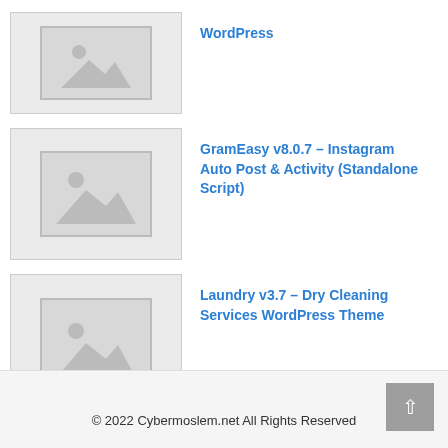WordPress
GramEasy v8.0.7 – Instagram Auto Post & Activity (Standalone Script)
Laundry v3.7 – Dry Cleaning Services WordPress Theme
© 2022 Cybermoslem.net All Rights Reserved